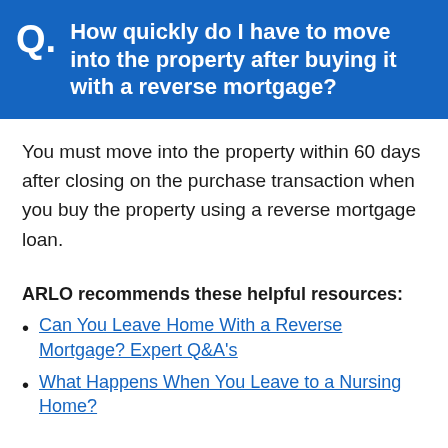Q. How quickly do I have to move into the property after buying it with a reverse mortgage?
You must move into the property within 60 days after closing on the purchase transaction when you buy the property using a reverse mortgage loan.
ARLO recommends these helpful resources:
Can You Leave Home With a Reverse Mortgage? Expert Q&A's
What Happens When You Leave to a Nursing Home?